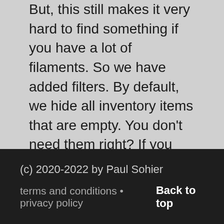But, this still makes it very hard to find something if you have a lot of filaments. So we have added filters. By default, we hide all inventory items that are empty. You don't need them right? If you still want to view them, just click on filters, and disable hide empty.
On the filters page, you can also apply specific filters, like the filament diameter, or the color, to show on the page. Making it very quick to find the roll you need.
Hopefully this makes it easier to use the inventory page for everyone. If you have any feedback, or if something is broken, please let us know.

And there will be more very soon! We have been
(c) 2020-2022 by Paul Sohier
terms and conditions • privacy policy    Back to top